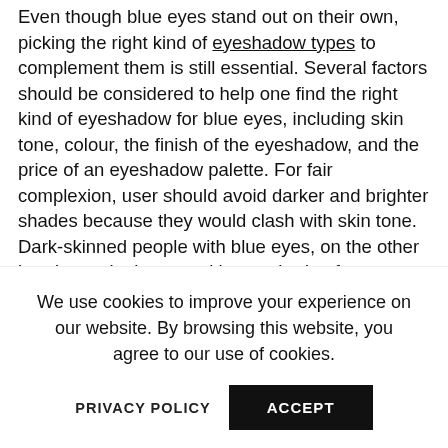Even though blue eyes stand out on their own, picking the right kind of eyeshadow types to complement them is still essential. Several factors should be considered to help one find the right kind of eyeshadow for blue eyes, including skin tone, colour, the finish of the eyeshadow, and the price of an eyeshadow palette. For fair complexion, user should avoid darker and brighter shades because they would clash with skin tone. Dark-skinned people with blue eyes, on the other hand, may look great with any shade of eyeshadow. Deciding the right colour of eyeshadow to complement blue eyes is crucial so as not to overpower the already bright colour of blue. Selecting a more contrasting hue like orange looks best that not only
We use cookies to improve your experience on our website. By browsing this website, you agree to our use of cookies.
PRIVACY POLICY
ACCEPT